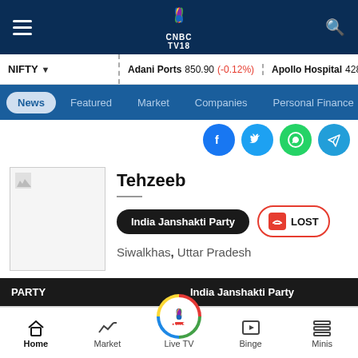CNBC TV18 — top navigation bar with logo
NIFTY ▾ | Adani Ports 850.90 (-0.12%) | Apollo Hospital 4282.55 (-0…
News | Featured | Market | Companies | Personal Finance
[Figure (screenshot): Social sharing icons: Facebook, Twitter, WhatsApp, Telegram]
Tehzeeb
India Janshakti Party   LOST
Siwalkhas, Uttar Pradesh
| PARTY | India Janshakti Party |
| --- | --- |
| Result |  |
Home | Market | Live TV | Binge | Minis